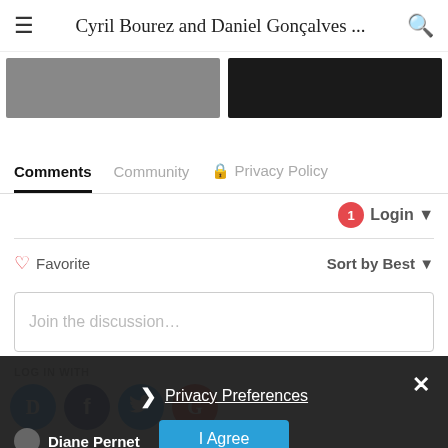Cyril Bourez and Daniel Gonçalves ...
[Figure (screenshot): Two thumbnail images side by side (left: grey, right: dark background)]
Comments   Community   🔒 Privacy Policy
1  Login ▾
♡ Favorite                     Sort by Best ▾
Join the discussion…
LOG IN WITH
[Figure (screenshot): Social login icons: Disqus (D), Facebook (f), Twitter bird, Google (G)]
[Figure (screenshot): Dark overlay with Privacy Preferences popup showing close button (X), chevron, Privacy Preferences link, and I Agree button]
Privacy Preferences
I Agree
Diane Pernet